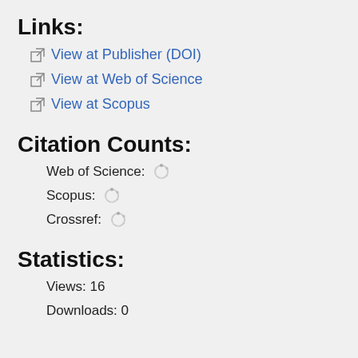Links:
View at Publisher (DOI)
View at Web of Science
View at Scopus
Citation Counts:
Web of Science:
Scopus:
Crossref:
Statistics:
Views: 16
Downloads: 0